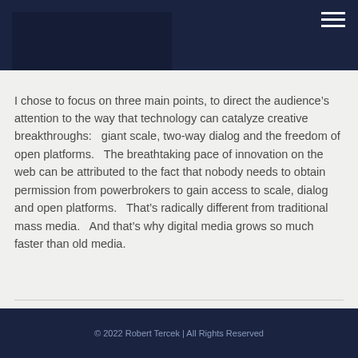I chose to focus on three main points, to direct the audience’s attention to the way that technology can catalyze creative breakthroughs:   giant scale, two-way dialog and the freedom of open platforms.   The breathtaking pace of innovation on the web can be attributed to the fact that nobody needs to obtain permission from powerbrokers to gain access to scale, dialog and open platforms.   That’s radically different from traditional mass media.   And that’s why digital media grows so much faster than old media.
© 2022 Robert Tercek | All Rights Reserved